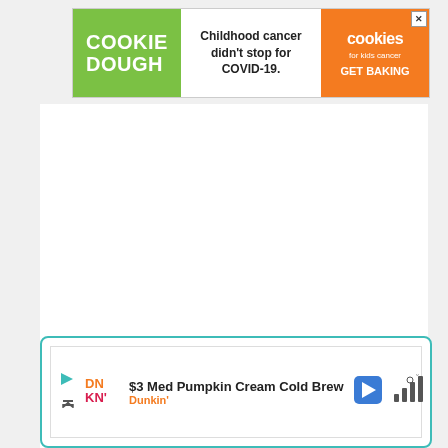[Figure (infographic): Advertisement banner for Cookies for Kids Cancer. Left green section shows 'COOKIE DOUGH' text in white bold. Middle white section reads 'Childhood cancer didn't stop for COVID-19.' Right orange section shows 'cookies for kids cancer' logo and 'GET BAKING' CTA with an X close button.]
[Figure (infographic): Floating circular teal heart/favorite button with heart icon, showing count '3.2K' below it, and a circular share button below that.]
[Figure (infographic): Bottom advertisement unit with teal border showing Dunkin' ad: '$3 Med Pumpkin Cream Cold Brew' with Dunkin' logo, navigation arrow icon, and signal bars icon.]